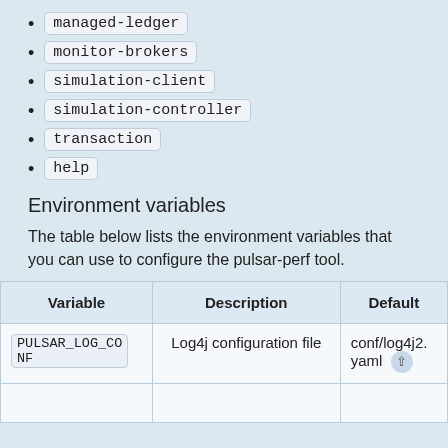managed-ledger
monitor-brokers
simulation-client
simulation-controller
transaction
help
Environment variables
The table below lists the environment variables that you can use to configure the pulsar-perf tool.
| Variable | Description | Default |
| --- | --- | --- |
| PULSAR_LOG_CONF | Log4j configuration file | conf/log4j2.yaml |